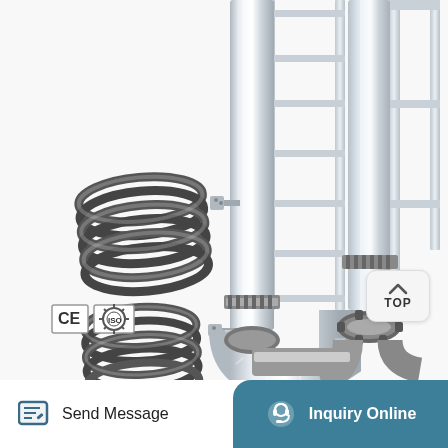[Figure (photo): Industrial stainless steel distillation or processing column equipment with spiral coil heat exchangers attached to vertical cylindrical columns, mounted on a metal support frame, with tri-clamp fittings and flanged connections at the bottom. White background. CE and ISO certification badges visible in lower left.]
TOP
Send Message
Inquiry Online